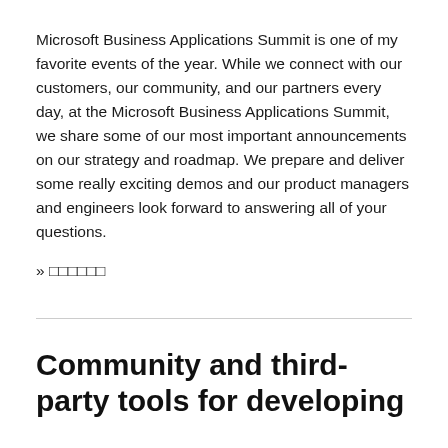Microsoft Business Applications Summit is one of my favorite events of the year. While we connect with our customers, our community, and our partners every day, at the Microsoft Business Applications Summit, we share some of our most important announcements on our strategy and roadmap. We prepare and deliver some really exciting demos and our product managers and engineers look forward to answering all of your questions.
» □□□□□□
Community and third-party tools for developing